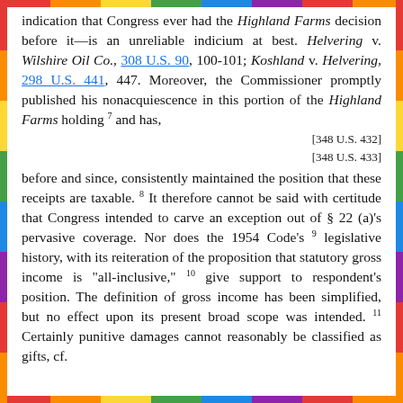indication that Congress ever had the Highland Farms decision before it—is an unreliable indicium at best. Helvering v. Wilshire Oil Co., 308 U.S. 90, 100-101; Koshland v. Helvering, 298 U.S. 441, 447. Moreover, the Commissioner promptly published his nonacquiescence in this portion of the Highland Farms holding 7 and has,
[348 U.S. 432]
[348 U.S. 433]
before and since, consistently maintained the position that these receipts are taxable. 8 It therefore cannot be said with certitude that Congress intended to carve an exception out of § 22 (a)'s pervasive coverage. Nor does the 1954 Code's 9 legislative history, with its reiteration of the proposition that statutory gross income is "all-inclusive," 10 give support to respondent's position. The definition of gross income has been simplified, but no effect upon its present broad scope was intended. 11 Certainly punitive damages cannot reasonably be classified as gifts, cf.